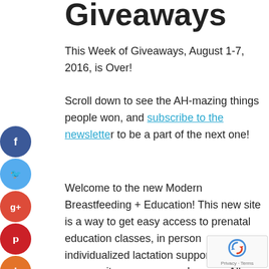Giveaways
This Week of Giveaways, August 1-7, 2016, is Over!
Scroll down to see the AH-mazing things people won, and subscribe to the newsletter to be a part of the next one!
Welcome to the new Modern Breastfeeding + Education! This new site is a way to get easy access to prenatal education classes, in person individualized lactation support, and community resources such as our All Moms postpartum group series.
But first, it's Giveaway Week to celebrate the launch of the site!